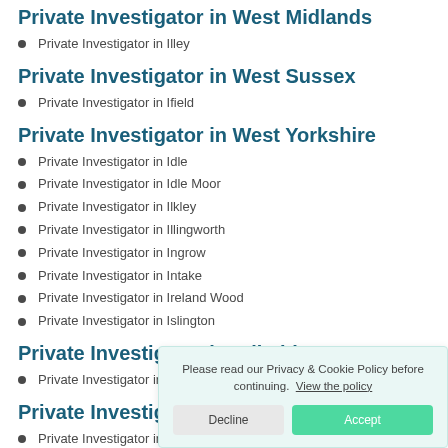Private Investigator in West Midlands
Private Investigator in Illey
Private Investigator in West Sussex
Private Investigator in Ifield
Private Investigator in West Yorkshire
Private Investigator in Idle
Private Investigator in Idle Moor
Private Investigator in Ilkley
Private Investigator in Illingworth
Private Investigator in Ingrow
Private Investigator in Intake
Private Investigator in Ireland Wood
Private Investigator in Islington
Private Investigator in Wiltshire
Private Investigator in Ivy Mead
Private Investigator in W...
Private Investigator in Illey
Please read our Privacy & Cookie Policy before continuing. View the policy